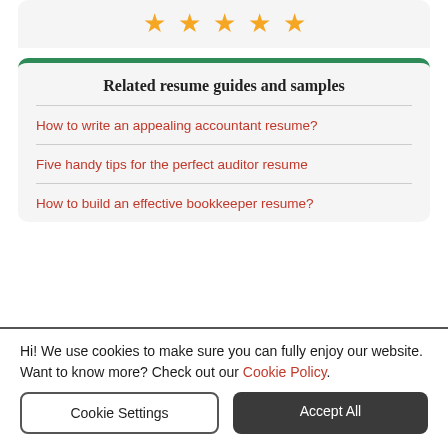[Figure (other): Five gold star rating icons displayed in a row]
Related resume guides and samples
How to write an appealing accountant resume?
Five handy tips for the perfect auditor resume
How to build an effective bookkeeper resume?
Hi! We use cookies to make sure you can fully enjoy our website. Want to know more? Check out our Cookie Policy.